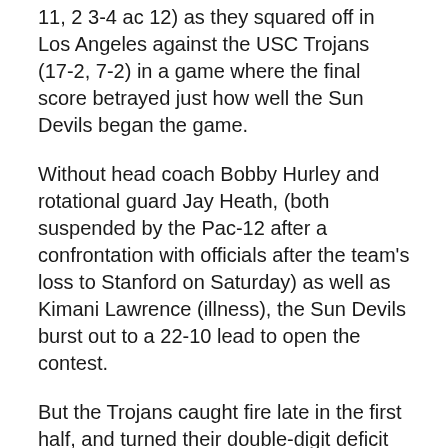11, 2 3-4 ac 12) as they squared off in Los Angeles against the USC Trojans (17-2, 7-2) in a game where the final score betrayed just how well the Sun Devils began the game.
Without head coach Bobby Hurley and rotational guard Jay Heath, (both suspended by the Pac-12 after a confrontation with officials after the team's loss to Stanford on Saturday) as well as Kimani Lawrence (illness), the Sun Devils burst out to a 22-10 lead to open the contest.
But the Trojans caught fire late in the first half, and turned their double-digit deficit into a 31-24 advantage by the halftime horn.
There was little response from the Sun Devils in the second half, which could not take advantage of some